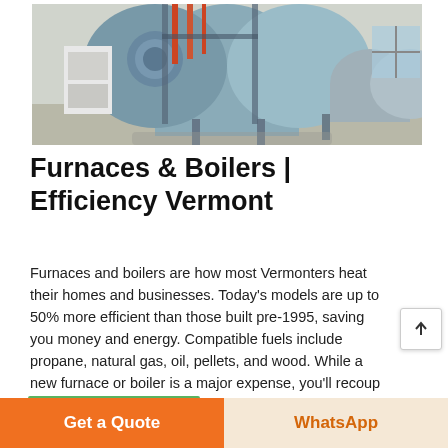[Figure (photo): Industrial boilers/furnaces in a facility — large cylindrical horizontal boiler units with blue steel supports and piping in a warehouse-like space]
Furnaces & Boilers | Efficiency Vermont
Furnaces and boilers are how most Vermonters heat their homes and businesses. Today's models are up to 50% more efficient than those built pre-1995, saving you money and energy. Compatible fuels include propane, natural gas, oil, pellets, and wood. While a new furnace or boiler is a major expense, you'll recoup the cost over time through
Get a Quote
WhatsApp